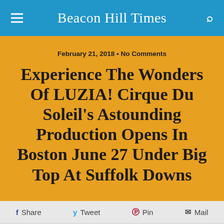Beacon Hill Times
February 21, 2018 • No Comments
Experience The Wonders Of LUZIA! Cirque Du Soleil's Astounding Production Opens In Boston June 27 Under Big Top At Suffolk Downs
Share  Tweet  Pin  Mail
Like  Sign Up to see what your friends like.
Cirque du Soleil is coming to Boston with its delightfully-imaginative and visually-stunning